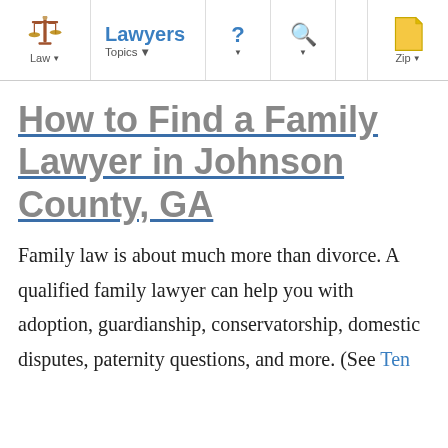Law | Lawyers | Topics | ? | Search | Zip
How to Find a Family Lawyer in Johnson County, GA
Family law is about much more than divorce. A qualified family lawyer can help you with adoption, guardianship, conservatorship, domestic disputes, paternity questions, and more. (See Ten